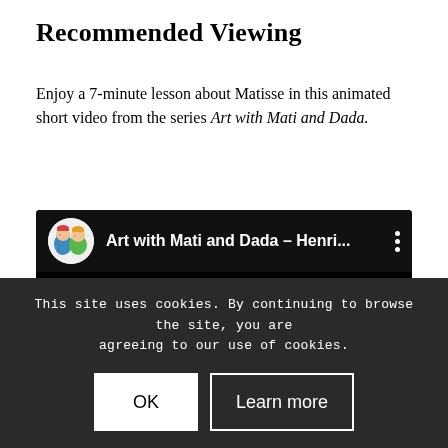Recommended Viewing
Enjoy a 7-minute lesson about Matisse in this animated short video from the series Art with Mati and Dada.
[Figure (screenshot): YouTube video embed showing 'Art with Mati and Dada – Henri...' with a circular avatar icon of two cartoon characters on the left, the video title in white text, and a three-dot menu icon on the right. The video area is black.]
This site uses cookies. By continuing to browse the site, you are agreeing to our use of cookies.